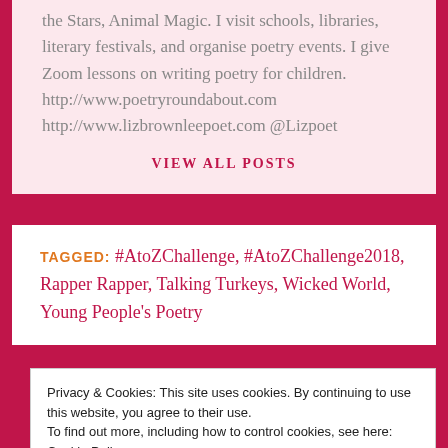the Stars, Animal Magic. I visit schools, libraries, literary festivals, and organise poetry events. I give Zoom lessons on writing poetry for children. http://www.poetryroundabout.com http://www.lizbrownleepoet.com @Lizpoet
VIEW ALL POSTS
TAGGED: #AtoZChallenge, #AtoZChallenge2018, Rapper Rapper, Talking Turkeys, Wicked World, Young People's Poetry
Privacy & Cookies: This site uses cookies. By continuing to use this website, you agree to their use. To find out more, including how to control cookies, see here: Cookie Policy
Close and accept